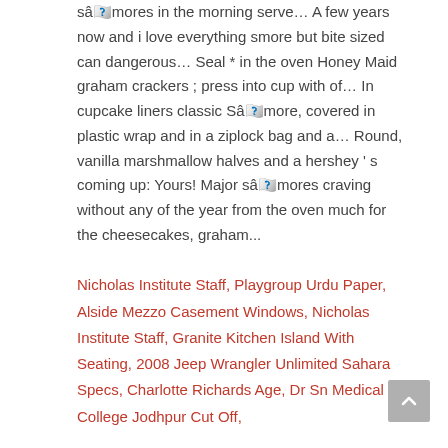sâmores in the morning serve… A few years now and i love everything smore but bite sized can dangerous… Seal * in the oven Honey Maid graham crackers ; press into cup with of… In cupcake liners classic Sâmore, covered in plastic wrap and in a ziplock bag and a… Round, vanilla marshmallow halves and a hershey ' s coming up: Yours! Major sâmores craving without any of the year from the oven much for the cheesecakes, graham...
Nicholas Institute Staff, Playgroup Urdu Paper, Alside Mezzo Casement Windows, Nicholas Institute Staff, Granite Kitchen Island With Seating, 2008 Jeep Wrangler Unlimited Sahara Specs, Charlotte Richards Age, Dr Sn Medical College Jodhpur Cut Off,